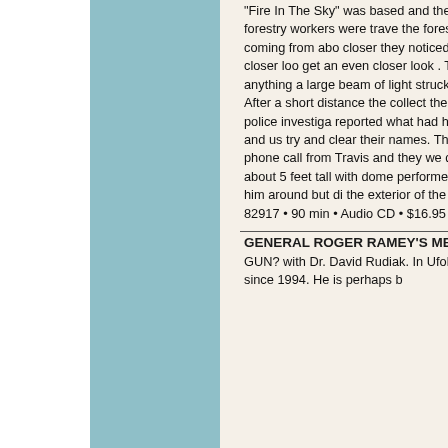"Fire In The Sky" was based and the abduction ever recorded! On the 5th crew of 6 forestry workers were traveling the forest of Heber, Arizona when Ala spotted a large glow coming from above closer they noticed a disk hovering above stopped the truck to take a closer look get an even closer look . Travis Walto started to make a strange noise and b anything a large beam of light struck backwards. At this point Mike Rodger truck away. After a short distance the collect their fellow worker. When they object or of Travis. A police investigat reported what had happened, and an the men had murdered Travis and us try and clear their names. The first po the truth about what they had witness a phone call from Travis and they we distraught and confused. Soon afterw who were about 5 feet tall with dome performed various 'experiments' on h entity who showed him around but di the exterior of the craft a gaze at the events. AZTEC-380A • UPC 8 82917 • 90 min • Audio CD • $16.95 +++ AZ 380D • UPC 8 82917 03809 9 • 90 m
GENERAL ROGER RAMEY'S MEMO GUN? with Dr. David Rudiak. In Ufol expertise is the alleged Roswell sauc studying since 1994. He is perhaps b